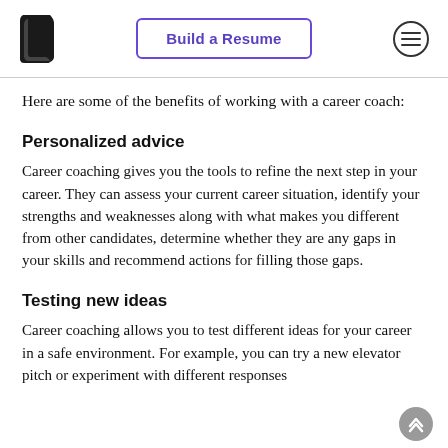Build a Resume
Here are some of the benefits of working with a career coach:
Personalized advice
Career coaching gives you the tools to refine the next step in your career. They can assess your current career situation, identify your strengths and weaknesses along with what makes you different from other candidates, determine whether they are any gaps in your skills and recommend actions for filling those gaps.
Testing new ideas
Career coaching allows you to test different ideas for your career in a safe environment. For example, you can try a new elevator pitch or experiment with different responses